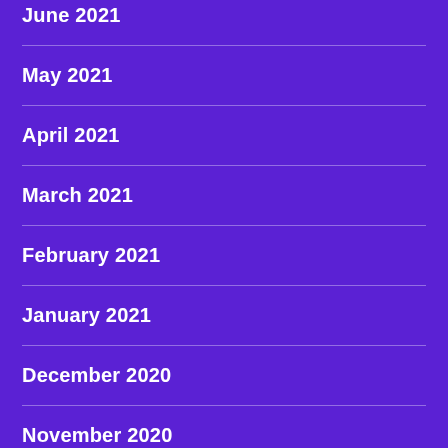June 2021
May 2021
April 2021
March 2021
February 2021
January 2021
December 2020
November 2020
October 2020